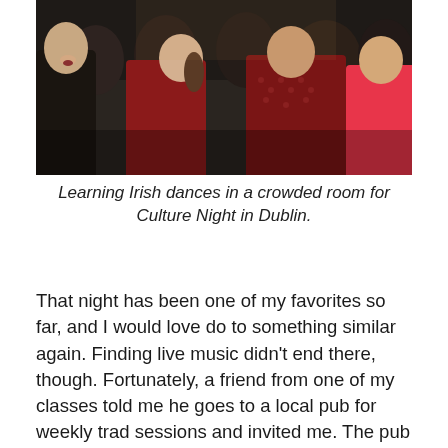[Figure (photo): Photo of people learning Irish dances in a crowded room, taken during Culture Night in Dublin. Shows a crowd of people dancing together in a dimly lit space.]
Learning Irish dances in a crowded room for Culture Night in Dublin.
That night has been one of my favorites so far, and I would love do to something similar again. Finding live music didn't end there, though. Fortunately, a friend from one of my classes told me he goes to a local pub for weekly trad sessions and invited me. The pub is called Peader Browns, and every week a bunch of the locals gather in a circle with all types of instruments and play classic Irish songs. They even did a couple covers of some American songs, like American Pie. This was not a tourist spot at all, as it emptied out on a weekend night around 12am. It was just a place for the locals to come together and play